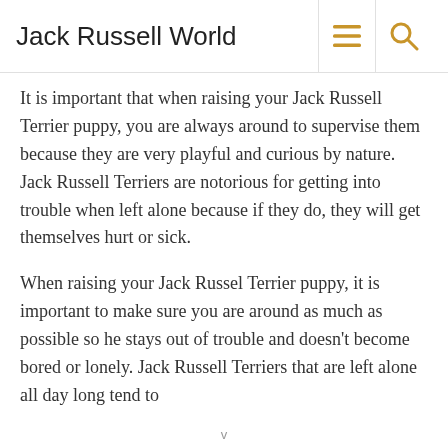Jack Russell World
It is important that when raising your Jack Russell Terrier puppy, you are always around to supervise them because they are very playful and curious by nature. Jack Russell Terriers are notorious for getting into trouble when left alone because if they do, they will get themselves hurt or sick.
When raising your Jack Russel Terrier puppy, it is important to make sure you are around as much as possible so he stays out of trouble and doesn't become bored or lonely. Jack Russell Terriers that are left alone all day long tend to